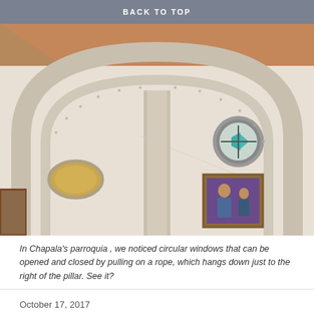BACK TO TOP
[Figure (photo): Interior of Chapala's parroquia church, showing large arched stone frames, two circular windows (one with teal stained glass), and a religious painting on the wall. Reddish-brown vaulted ceiling visible above.]
In Chapala's parroquia , we noticed circular windows that can be opened and closed by pulling on a rope, which hangs down just to the right of the pillar. See it?
October 17, 2017
Ajijic, bus, carretera, cats, Chapala, church, Costco, cultural events